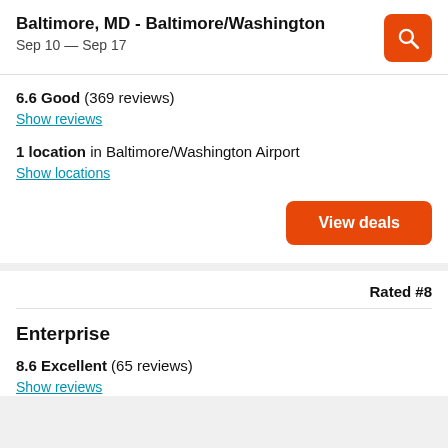Baltimore, MD - Baltimore/Washington
Sep 10 — Sep 17
6.6 Good (369 reviews)
Show reviews
1 location in Baltimore/Washington Airport
Show locations
View deals
Rated #8
Enterprise
8.6 Excellent (65 reviews)
Show reviews